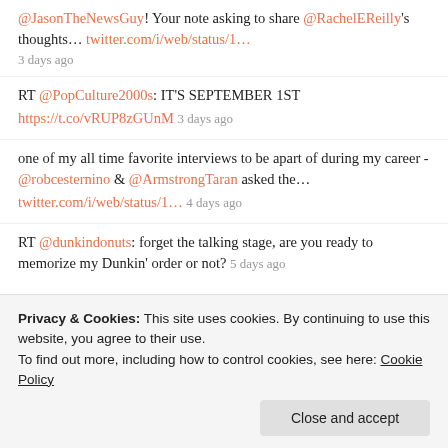@JasonTheNewsGuy! Your note asking to share @RachelEReilly's thoughts… twitter.com/i/web/status/1… 3 days ago
RT @PopCulture2000s: IT'S SEPTEMBER 1ST https://t.co/vRUP8zGUnM 3 days ago
one of my all time favorite interviews to be apart of during my career - @robcesternino & @ArmstrongTaran asked the… twitter.com/i/web/status/1… 4 days ago
RT @dunkindonuts: forget the talking stage, are you ready to memorize my Dunkin' order or not? 5 days ago
Follow @sparkleshinesam
Privacy & Cookies: This site uses cookies. By continuing to use this website, you agree to their use. To find out more, including how to control cookies, see here: Cookie Policy
Close and accept